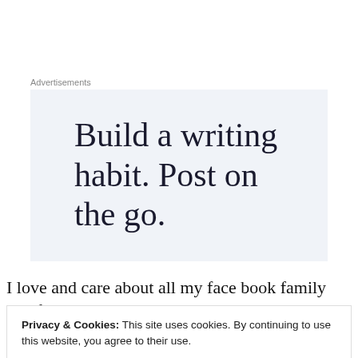Advertisements
[Figure (illustration): Advertisement banner with text 'Build a writing habit. Post on the go.' on a light blue-grey background]
I love and care about all my face book family and friends,
Privacy & Cookies: This site uses cookies. By continuing to use this website, you agree to their use.
To find out more, including how to control cookies, see here: Cookie Policy
Close and accept